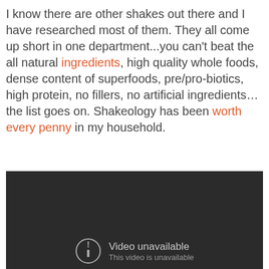I know there are other shakes out there and I have researched most of them. They all come up short in one department...you can't beat the all natural ingredients, high quality whole foods, dense content of superfoods, pre/pro-biotics, high protein, no fillers, no artificial ingredients…the list goes on. Shakeology has been worth every penny in my household.
[Figure (screenshot): Dark video player showing 'Video unavailable' message with a circle-exclamation icon and subtitle 'This video is unavailable']